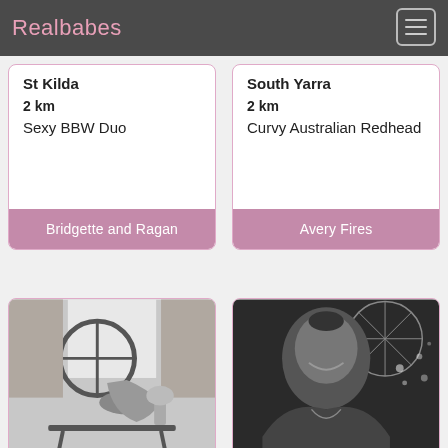Realbabes
St Kilda
2 km
Sexy BBW Duo
Bridgette and Ragan
South Yarra
2 km
Curvy Australian Redhead
Avery Fires
[Figure (photo): Black and white photo of a woman posing indoors near a round window]
[Figure (photo): Black and white portrait photo of a smiling woman with a parasol in the background]